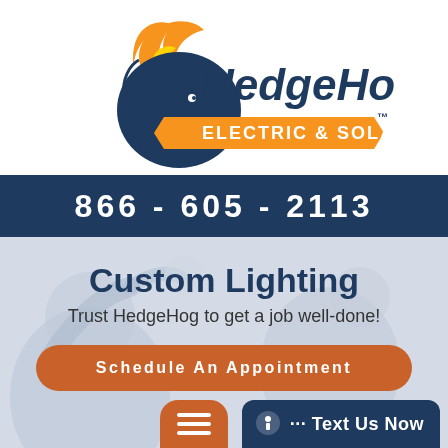[Figure (logo): HedgeHog Electric & Solar logo with orange flame hedgehog graphic and navy blue text]
866-605-2113
Custom Lighting
Trust HedgeHog to get a job well-done!
Schedule An Appointment
··· Text Us Now